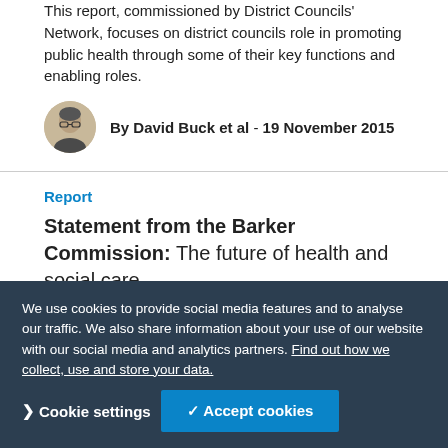This report, commissioned by District Councils' Network, focuses on district councils role in promoting public health through some of their key functions and enabling roles.
By David Buck et al - 19 November 2015
Report
Statement from the Barker Commission: The future of health and social care
A statement from the Barker Commission to the Chancellor ahead of the Spending Review on the state of social care and its funding.
8 November 2015
Evidence and consultation
Spending Review Submissi…
We use cookies to provide social media features and to analyse our traffic. We also share information about your use of our website with our social media and analytics partners. Find out how we collect, use and store your data.